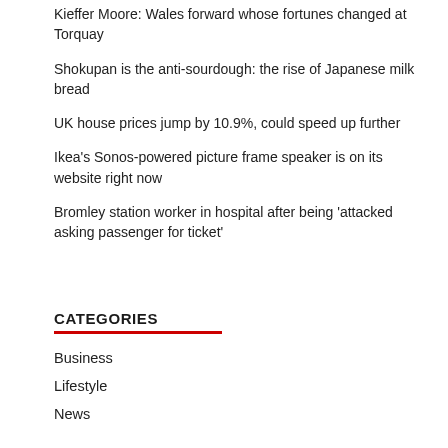Kieffer Moore: Wales forward whose fortunes changed at Torquay
Shokupan is the anti-sourdough: the rise of Japanese milk bread
UK house prices jump by 10.9%, could speed up further
Ikea's Sonos-powered picture frame speaker is on its website right now
Bromley station worker in hospital after being 'attacked asking passenger for ticket'
CATEGORIES
Business
Lifestyle
News